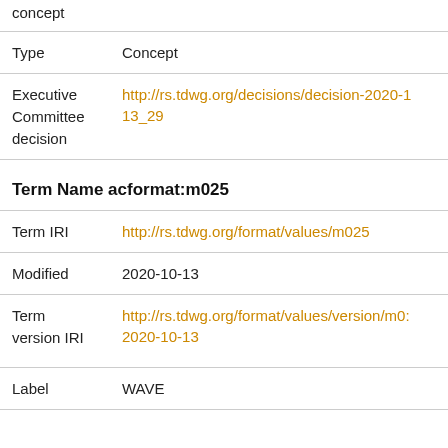concept
| Field | Value |
| --- | --- |
| Type | Concept |
| Executive Committee decision | http://rs.tdwg.org/decisions/decision-2020-13_29 |
Term Name acformat:m025
| Field | Value |
| --- | --- |
| Term IRI | http://rs.tdwg.org/format/values/m025 |
| Modified | 2020-10-13 |
| Term version IRI | http://rs.tdwg.org/format/values/version/m0... 2020-10-13 |
| Label | WAVE |